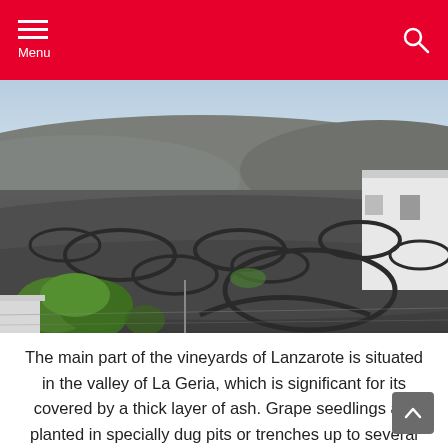Menu
[Figure (photo): Aerial view of Lanzarote vineyards in La Geria valley. Black volcanic ash landscape with circular stone windbreaks (zocos) protecting individual grape vines. Hills in background, white building on right, green plants visible in foreground.]
The main part of the vineyards of Lanzarote is situated in the valley of La Geria, which is significant for its covered by a thick layer of ash. Grape seedlings are planted in specially dug pits or trenches up to several meters wide. This is done first to make it